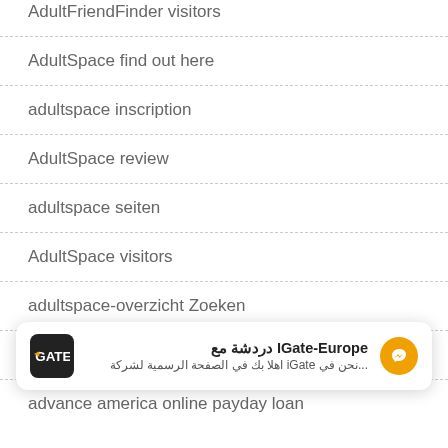AdultFriendFinder visitors
AdultSpace find out here
adultspace inscription
AdultSpace review
adultspace seiten
AdultSpace visitors
adultspace-overzicht Zoeken
adultspace-recenze VyhledГЎvГЎnГ
advance america online payday loan
[Figure (screenshot): Chat widget overlay for IGate-Europe with Arabic text and Messenger icon]